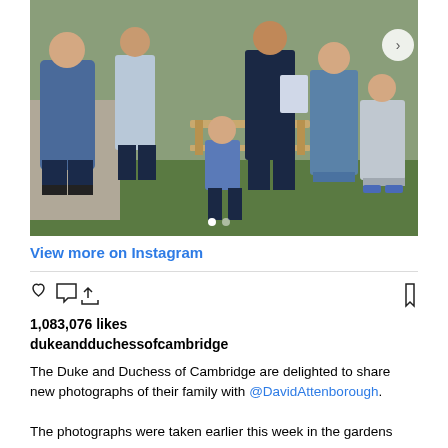[Figure (photo): Group photo of the Duke and Duchess of Cambridge with their children and David Attenborough in a garden setting]
View more on Instagram
1,083,076 likes
dukeandduchessofcambridge
The Duke and Duchess of Cambridge are delighted to share new photographs of their family with @DavidAttenborough.
The photographs were taken earlier this week in the gardens